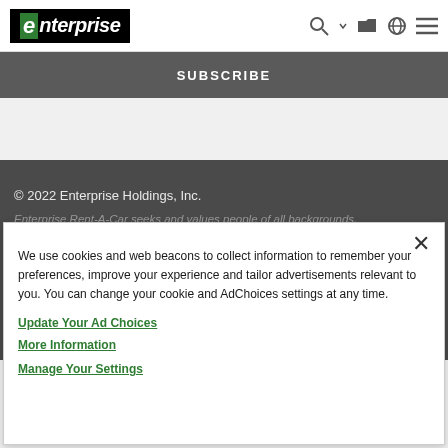enterprise [logo] — navigation icons
SUBSCRIBE
© 2022 Enterprise Holdings, Inc.
Enterprise Rent-A-Car seeks and values people of all backgrounds.
We use cookies and web beacons to collect information to remember your preferences, improve your experience and tailor advertisements relevant to you. You can change your cookie and AdChoices settings at any time.
Update Your Ad Choices
More Information
Manage Your Settings